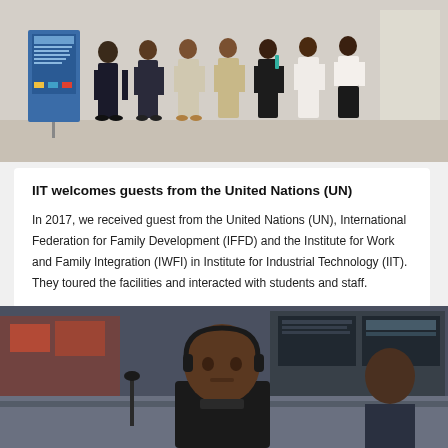[Figure (photo): Group photo of several people standing together in an office or institutional setting, with a banner/display stand visible on the left side.]
IIT welcomes guests from the United Nations (UN)
In 2017, we received guest from the United Nations (UN), International Federation for Family Development (IFFD) and the Institute for Work and Family Integration (IWFI) in Institute for Industrial Technology (IIT). They toured the facilities and interacted with students and staff.
[Figure (photo): A person wearing headphones seated in what appears to be a studio or technology lab environment.]